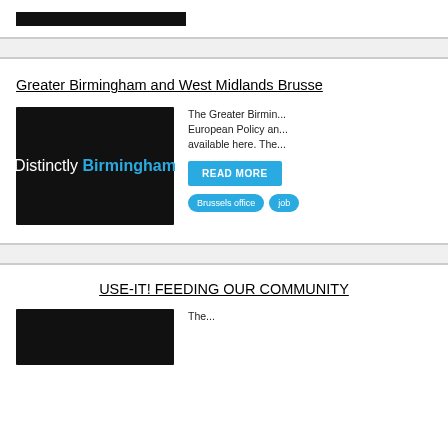[Figure (screenshot): Top partial card showing a dark banner image, cropped at top]
Greater Birmingham and West Midlands Brusse
[Figure (logo): Dark background logo reading 'Distinctly Birmingham' with Birmingham in blue]
The Greater Birmin... European Policy an... available here. The...
READ MORE
Brussels office
job
USE-IT! FEEDING OUR COMMUNITY
[Figure (photo): Bottom partial card with dark banner image]
The...